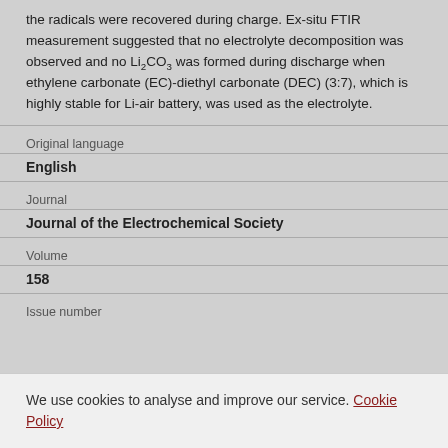the radicals were recovered during charge. Ex-situ FTIR measurement suggested that no electrolyte decomposition was observed and no Li₂CO₃ was formed during discharge when ethylene carbonate (EC)-diethyl carbonate (DEC) (3:7), which is highly stable for Li-air battery, was used as the electrolyte.
Original language
English
Journal
Journal of the Electrochemical Society
Volume
158
Issue number
We use cookies to analyse and improve our service. Cookie Policy